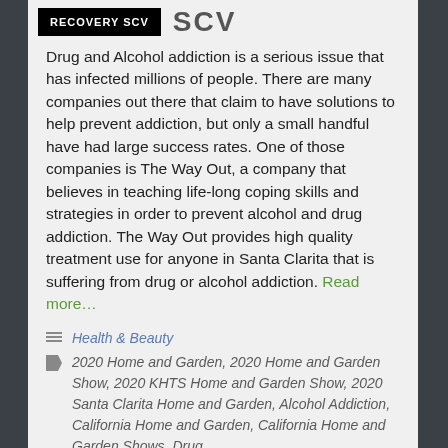[Figure (logo): Recovery SCV logo — black box with white text 'RECOVERY SCV' and grey 'SCV' text beside it]
Drug and Alcohol addiction is a serious issue that has infected millions of people. There are many companies out there that claim to have solutions to help prevent addiction, but only a small handful have had large success rates. One of those companies is The Way Out, a company that believes in teaching life-long coping skills and strategies in order to prevent alcohol and drug addiction. The Way Out provides high quality treatment use for anyone in Santa Clarita that is suffering from drug or alcohol addiction. Read more…
Health & Beauty
2020 Home and Garden, 2020 Home and Garden Show, 2020 KHTS Home and Garden Show, 2020 Santa Clarita Home and Garden, Alcohol Addiction, California Home and Garden, California Home and Garden Shows, Drug